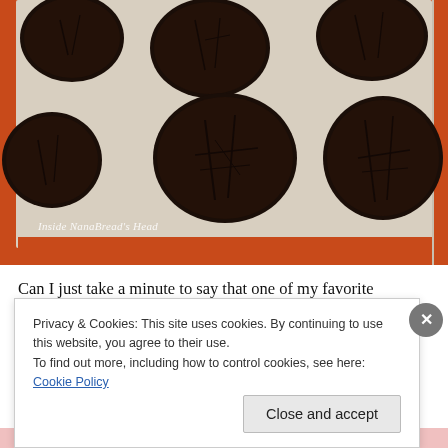[Figure (photo): Overhead photo of dark chocolate cookies on a beige silicone baking mat with orange border edges. The cookies are round, dark brown, with cracked surfaces. A watermark reads 'Inside NanaBread's Head' in the lower left corner.]
Can I just take a minute to say that one of my favorite
Privacy & Cookies: This site uses cookies. By continuing to use this website, you agree to their use.
To find out more, including how to control cookies, see here: Cookie Policy